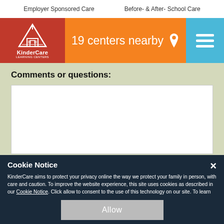Employer Sponsored Care   Before- & After- School Care
[Figure (logo): KinderCare logo with building icon on red background]
19 centers nearby
Comments or questions:
KinderCare aims to protect your privacy online the way we protect your family in person, with care and caution. To improve the website experience, this site uses cookies as described in our Cookie Notice. Click allow to consent to the use of this technology on our site. To learn more, please visit our Legal Notices Page.
Cookie Notice
Allow